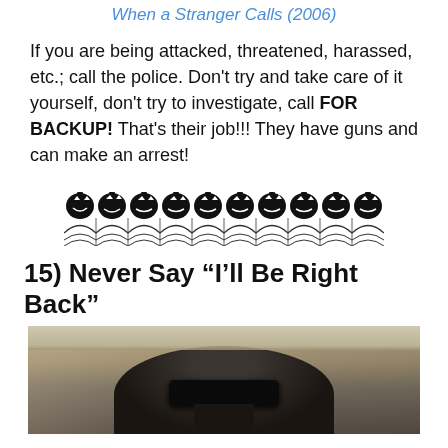When a Stranger Calls (2006)
If you are being attacked, threatened, harassed, etc.; call the police. Don't try and take care of it yourself, don't try to investigate, call FOR BACKUP! That's their job!!! They have guns and can make an arrest!
[Figure (illustration): A row of black jack-o-lantern pumpkin icons sitting on a spider web border decoration]
15) Never Say “I’ll Be Right Back”
[Figure (photo): A sepia-toned photo of a person with dark hair wearing dark sunglasses, viewed from below]